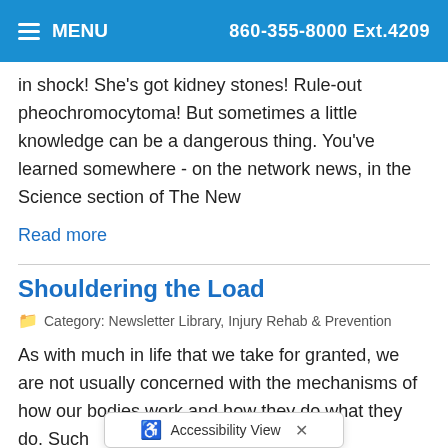MENU  860-355-8000 Ext.4209
in shock! She's got kidney stones! Rule-out pheochromocytoma! But sometimes a little knowledge can be a dangerous thing. You've learned somewhere - on the network news, in the Science section of The New
Read more
Shouldering the Load
Category: Newsletter Library, Injury Rehab & Prevention
As with much in life that we take for granted, we are not usually concerned with the mechanisms of how our bodies work and how they do what they do. Such